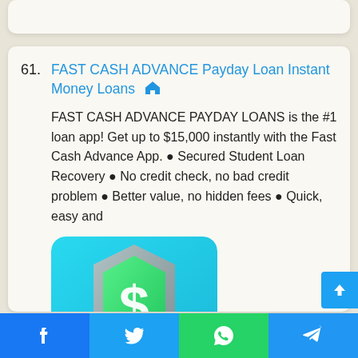61. FAST CASH ADVANCE Payday Loan Instant Money Loans 🏠
FAST CASH ADVANCE PAYDAY LOANS is the #1 loan app! Get up to $15,000 instantly with the Fast Cash Advance App. ● Secured Student Loan Recovery ● No credit check, no bad credit problem ● Better value, no hidden fees ● Quick, easy and
[Figure (photo): App icon showing a green shield with a dollar sign ($) symbol, rounded square shape with blue-green gradient background]
Facebook  Twitter  WhatsApp  Telegram